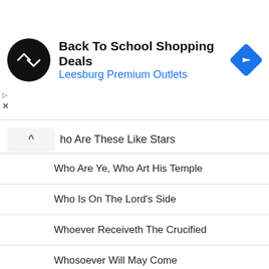[Figure (infographic): Ad banner for Back To School Shopping Deals at Leesburg Premium Outlets, with circular black logo with double arrow symbol and blue diamond navigation icon]
ho Are These Like Stars
Who Are Ye, Who Art His Temple
Who Is On The Lord's Side
Whoever Receiveth The Crucified
Whosoever Will May Come
Why Me Lord? What Have I Ever
Why Should I Fear The Darkest
Why Worry About Tomorrow